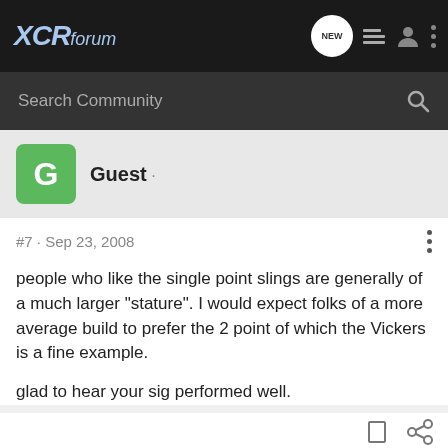XCRforum
Search Community
Guest ·
#7 · Sep 23, 2008
people who like the single point slings are generally of a much larger "stature". I would expect folks of a more average build to prefer the 2 point of which the Vickers is a fine example.
glad to hear your sig performed well.
[Figure (screenshot): Kel-Tec CP33 pistol advertisement banner with text SEEKING LONG RANGE RELATIONSHIP]